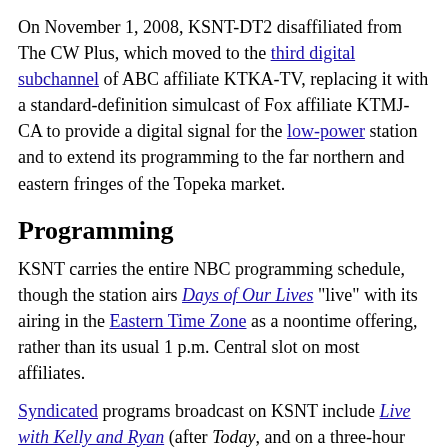On November 1, 2008, KSNT-DT2 disaffiliated from The CW Plus, which moved to the third digital subchannel of ABC affiliate KTKA-TV, replacing it with a standard-definition simulcast of Fox affiliate KTMJ-CA to provide a digital signal for the low-power station and to extend its programming to the far northern and eastern fringes of the Topeka market.
Programming
KSNT carries the entire NBC programming schedule, though the station airs Days of Our Lives "live" with its airing in the Eastern Time Zone as a noontime offering, rather than its usual 1 p.m. Central slot on most affiliates.
Syndicated programs broadcast on KSNT include Live with Kelly and Ryan (after Today, and on a three-hour delay from its actual production time), Inside Edition, The Ellen DeGeneres Show, Entertainment Tonight, and The Good Dish with Daphne Oz.
News operation
KSNT presently broadcasts 26 hours of locally produced newscasts each week (with four hours each weekday and three hours each on Saturdays and Sundays). Unlike most NBC affiliates, the station